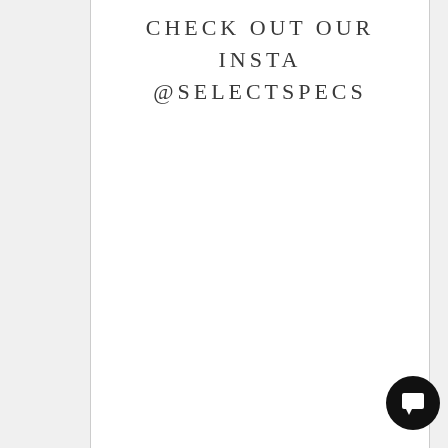CHECK OUT OUR INSTA @SELECTSPECS
[Figure (other): Dark circular chat/message button icon in the bottom right corner]